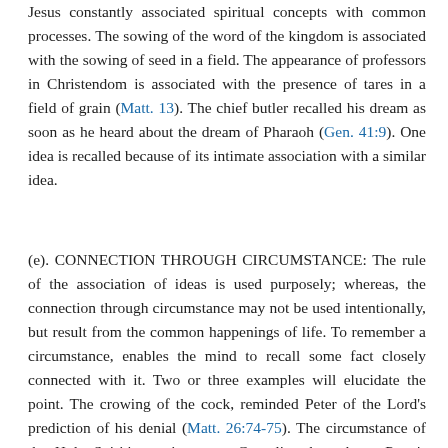Jesus constantly associated spiritual concepts with common processes. The sowing of the word of the kingdom is associated with the sowing of seed in a field. The appearance of professors in Christendom is associated with the presence of tares in a field of grain (Matt. 13). The chief butler recalled his dream as soon as he heard about the dream of Pharaoh (Gen. 41:9). One idea is recalled because of its intimate association with a similar idea.
(e). CONNECTION THROUGH CIRCUMSTANCE: The rule of the association of ideas is used purposely; whereas, the connection through circumstance may not be used intentionally, but result from the common happenings of life. To remember a circumstance, enables the mind to recall some fact closely connected with it. Two or three examples will elucidate the point. The crowing of the cock, reminded Peter of the Lord's prediction of his denial (Matt. 26:74-75). The circumstance of the Holy Spirit's coming upon Cornelius, brought to Peter's mind the fact that the Lord had spoken of